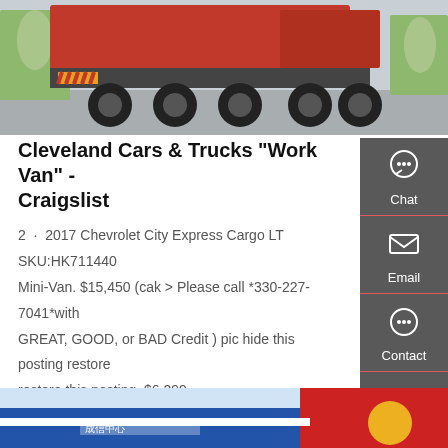[Figure (photo): Red dump truck / heavy vehicle parked in a yard, viewed from the rear/side angle. Cement mixer trucks visible in background.]
Cleveland Cars & Trucks "Work Van" - Craigslist
2 · 2017 Chevrolet City Express Cargo LT SKU:HK711440 Mini-Van. $15,450 (cak > Please call *330-227-7041*with GREAT, GOOD, or BAD Credit ) pic hide this posting restore restore this posting. $6,299.
[Figure (other): Button: Get a Quote — amber/gold background with white text]
[Figure (other): Right sidebar with Chat, Email, Contact, Top navigation icons on dark gray background]
[Figure (photo): Partial bottom image showing blue, red and white vehicle with Chinese text logo]